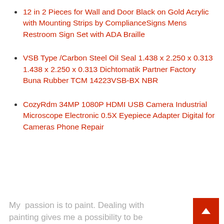12 in 2 Pieces for Wall and Door Black on Gold Acrylic with Mounting Strips by ComplianceSigns Mens Restroom Sign Set with ADA Braille
VSB Type /Carbon Steel Oil Seal 1.438 x 2.250 x 0.313 1.438 x 2.250 x 0.313 Dichtomatik Partner Factory Buna Rubber TCM 14223VSB-BX NBR
CozyRdm 34MP 1080P HDMI USB Camera Industrial Microscope Electronic 0.5X Eyepiece Adapter Digital for Cameras Phone Repair
My  passion is to paint. Dealing with painting gives me a possibility to be